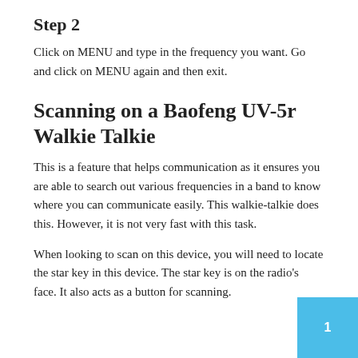Step 2
Click on MENU and type in the frequency you want. Go and click on MENU again and then exit.
Scanning on a Baofeng UV-5r Walkie Talkie
This is a feature that helps communication as it ensures you are able to search out various frequencies in a band to know where you can communicate easily. This walkie-talkie does this. However, it is not very fast with this task.
When looking to scan on this device, you will need to locate the star key in this device. The star key is on the radio's face. It also acts as a button for scanning.